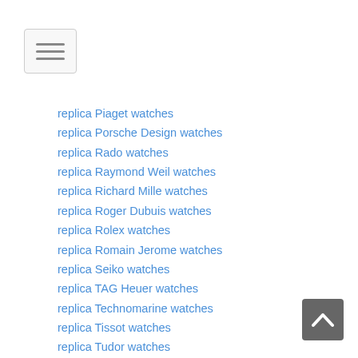[Figure (other): Hamburger menu button icon with three horizontal lines]
replica Piaget watches
replica Porsche Design watches
replica Rado watches
replica Raymond Weil watches
replica Richard Mille watches
replica Roger Dubuis watches
replica Rolex watches
replica Romain Jerome watches
replica Seiko watches
replica TAG Heuer watches
replica Technomarine watches
replica Tissot watches
replica Tudor watches
replica TW Steel watches
replica U-Boat watches
replica Ulysse Nardin watches
replica Vacheron Constantin watches
replica Zenith watches
Alain Silberstein Replica Watches
A.Lange Sohne Replica Watches
[Figure (other): Back to top arrow chevron button]